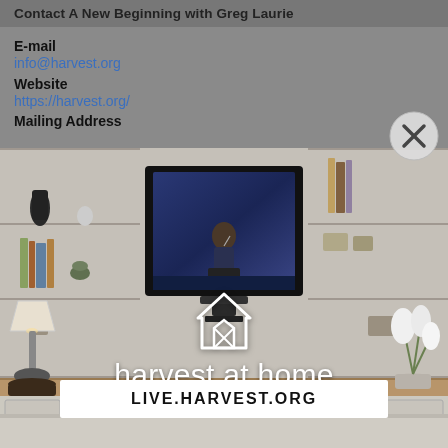Contact A New Beginning with Greg Laurie
E-mail
info@harvest.org
Website
https://harvest.org/
Mailing Address
[Figure (photo): Harvest at Home promotional image showing a living room with a built-in entertainment center. A television displays a preacher (Greg Laurie) speaking at a podium. The Harvest at Home logo with a house icon and the text 'harvest at home GREG LAURIE' is overlaid on the lower portion, along with a 'LIVE.HARVEST.ORG' banner at the bottom.]
LIVE.HARVEST.ORG